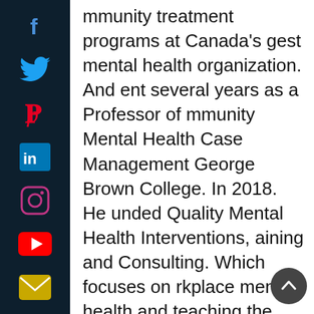[Figure (other): Dark navy vertical social media sidebar with icons for Facebook, Twitter, Pinterest, LinkedIn, Instagram, YouTube, and Email]
mmunity treatment programs at Canada's gest mental health organization. And ent several years as a Professor of mmunity Mental Health Case Management George Brown College. In 2018. He unded Quality Mental Health Interventions, aining and Consulting. Which focuses on rkplace mental health and teaching the ental health skills necessary to turn toxic relationships with clients and colleagues into productive one.
He is also a Senior Level, Nonviolent Crisis Intervention Instructor Suicide, Alertness